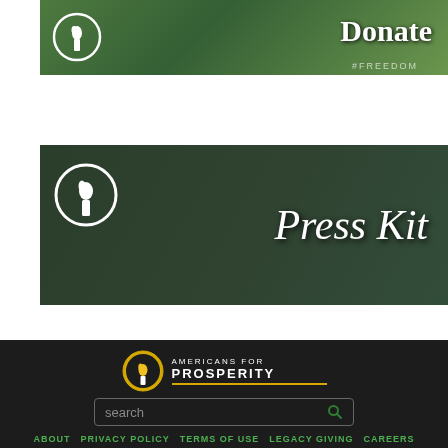[Figure (screenshot): Donate banner with torch icon and crowd background (green tint), text 'Donate' on right]
[Figure (screenshot): Press Kit banner with torch icon and person typing on laptop background (dark green tint), text 'Press Kit' on right]
[Figure (logo): Americans for Prosperity logo with torch icon and text 'AMERICANS FOR PROSPERITY' with yellow underline, on dark background]
search
ABOUT   PRIVACY POLICY   TERMS OF USE   LEGACY GIVING   CAREERS